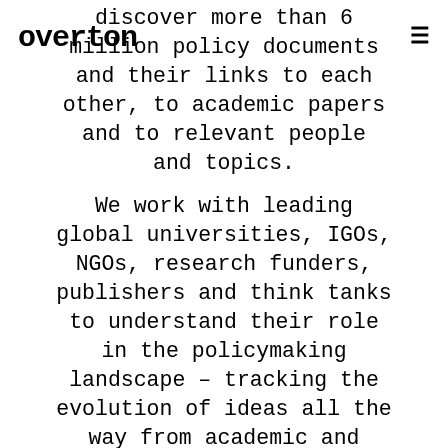overton ≡
discover more than 6 million policy documents and their links to each other, to academic papers and to relevant people and topics.
We work with leading global universities, IGOs, NGOs, research funders, publishers and think tanks to understand their role in the policymaking landscape – tracking the evolution of ideas all the way from academic and think tank research, through knowledge brokers and other intermediaries to government.